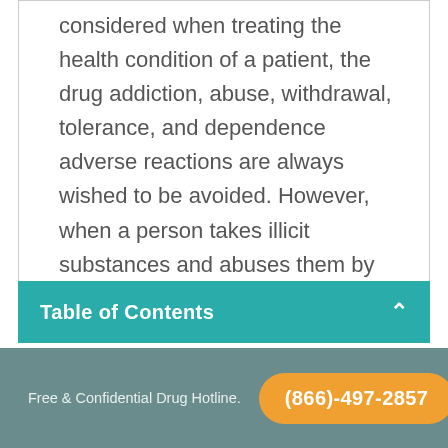considered when treating the health condition of a patient, the drug addiction, abuse, withdrawal, tolerance, and dependence adverse reactions are always wished to be avoided. However, when a person takes illicit substances and abuses them by using them recreationally, a lot of health dangers can occur, including the development of addiction.
Table of Contents
Free & Confidential Drug Hotline. (866)-497-2857